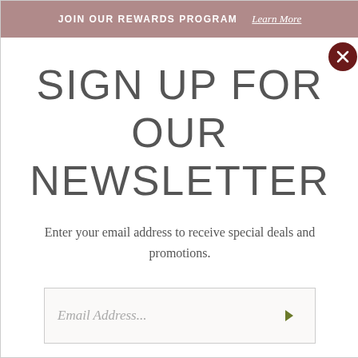JOIN OUR REWARDS PROGRAM  Learn More
SIGN UP FOR OUR NEWSLETTER
Enter your email address to receive special deals and promotions.
Email Address...